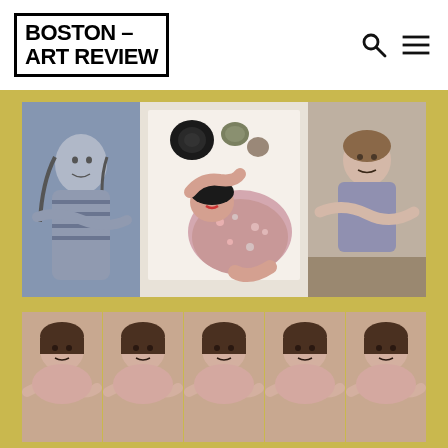BOSTON – ART REVIEW
[Figure (photo): Art installation photograph on Boston Art Review website. Top row: left panel shows black-and-white photo of woman with braided hair; center panel shows overhead/top-down color photo of woman in floral dress lying on white surface with camera and objects around her; right panel shows color photo of woman with arms crossed. Bottom row: five repeated color photos of a woman with short hair and crossed arms against warm background. Gold/yellow wall visible below the artwork.]